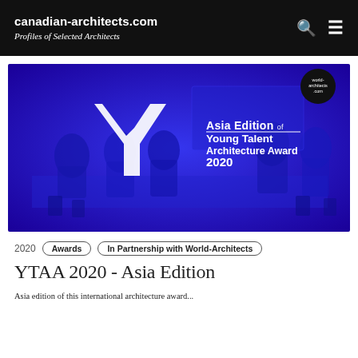canadian-architects.com
Profiles of Selected Architects
[Figure (photo): Blue-tinted promotional image showing young people gathered around a table working together. Text overlay reads: 'Asia Edition of Young Talent Architecture Award 2020' with a 'world-architects.com' logo badge in the top right corner, and a large Y checkmark graphic on the left side.]
2020   Awards   In Partnership with World-Architects
YTAA 2020 - Asia Edition
Asia edition of this international architecture award...